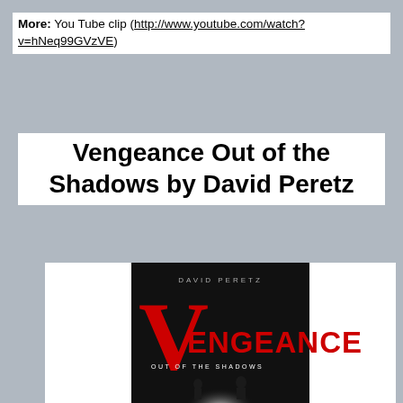More: You Tube clip (http://www.youtube.com/watch?v=hNeq99GVzVE)
Vengeance Out of the Shadows by David Peretz
[Figure (illustration): Book cover for 'Vengeance Out of the Shadows by David Peretz'. Black background with large red letter V, followed by 'ENGEANCE' in red, author name 'DAVID PERETZ' at top in gray, subtitle 'OUT OF THE SHADOWS' in white, and silhouette figures at bottom with a bright light source.]